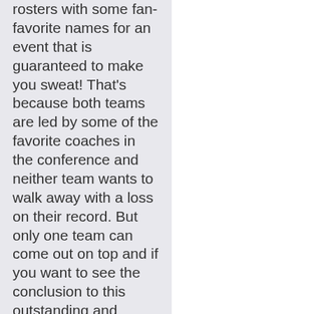rosters with some fan-favorite names for an event that is guaranteed to make you sweat! That's because both teams are led by some of the favorite coaches in the conference and neither team wants to walk away with a loss on their record. But only one team can come out on top and if you want to see the conclusion to this outstanding and intense rivalry, you have to be here to see it. So make sure you clear your schedules and mark